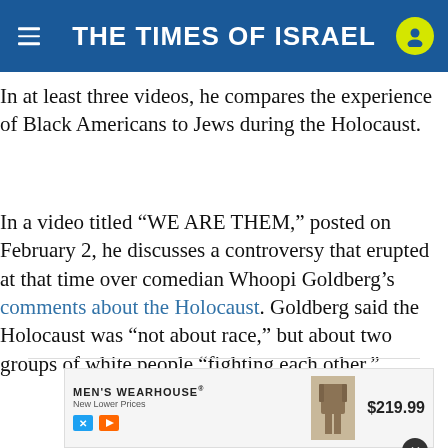THE TIMES OF ISRAEL
In at least three videos, he compares the experience of Black Americans to Jews during the Holocaust.
In a video titled “WE ARE THEM,” posted on February 2, he discusses a controversy that erupted at that time over comedian Whoopi Goldberg’s comments about the Holocaust. Goldberg said the Holocaust was “not about race,” but about two groups of white people “fighting each other.”
ADVERTISEMENT
[Figure (other): Men's Wearhouse advertisement showing a suit at $219.99]